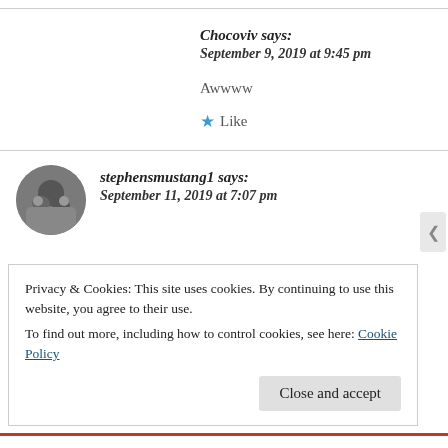Chocoviv says: September 9, 2019 at 9:45 pm
Awwww
★ Like
stephensmustang1 says: September 11, 2019 at 7:07 pm
Privacy & Cookies: This site uses cookies. By continuing to use this website, you agree to their use.
To find out more, including how to control cookies, see here: Cookie Policy
Close and accept